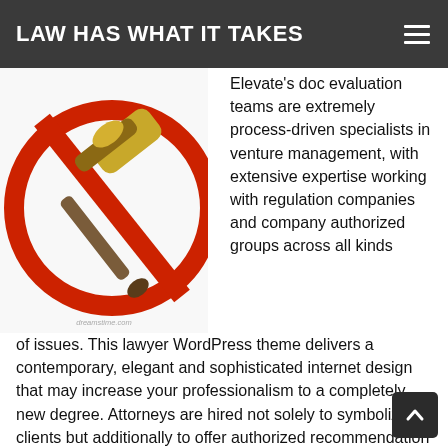LAW HAS WHAT IT TAKES
[Figure (photo): A golden gavel with a red prohibition circle overlaid, symbolizing legal restriction or banned law, with a dreamstime.com watermark.]
Elevate's doc evaluation teams are extremely process-driven specialists in venture management, with extensive expertise working with regulation companies and company authorized groups across all kinds of issues. This lawyer WordPress theme delivers a contemporary, elegant and sophisticated internet design that may increase your professionalism to a completely new degree. Attorneys are hired not solely to symbolize clients but additionally to offer authorized recommendation by certain pursuits, endeavors, and conditions.
These companies will enable you to have fast, safe access to